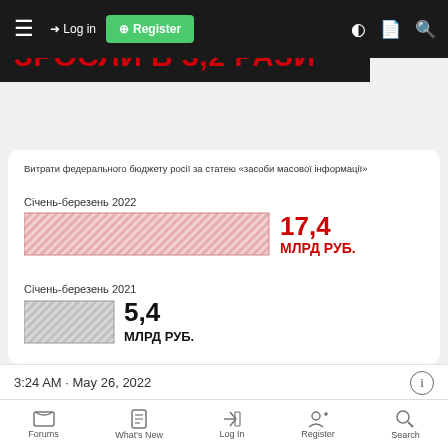≡  → Log in  ⊞ Register
ЗРОСЛИ В 3,2 РАЗИ
Витрати федерального бюджету росії за статею «засоби масової інформації»
[Figure (bar-chart): Витрати росії на пропаганду зросли в 3,2 рази]
Джерело: The Moscow Times
t.me/uawarinfographics
3:24 AM · May 26, 2022
Forums  What's New  Log In  Register  Search